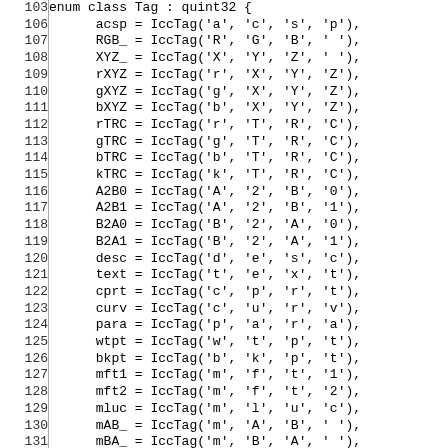[Figure (other): Source code listing showing C++ enum class Tag with uint32 type, lines 103-134, each enum value assigned via IccTag() with four character arguments]